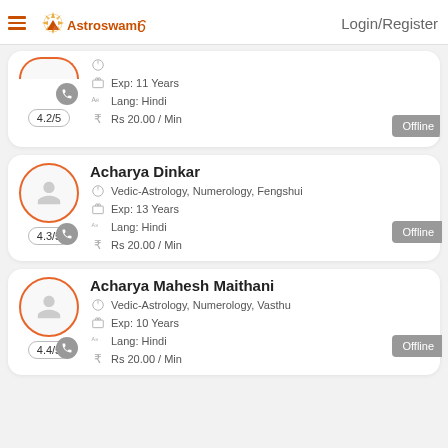Astroswami | Login/Register
[Figure (screenshot): Partial astrologer card (cut off at top) showing rating 4.2/5, Exp: 11 Years, Lang: Hindi, Rs 20.00 / Min, Offline button]
Acharya Dinkar
Vedic-Astrology, Numerology, Fengshui
Exp: 13 Years
Lang: Hindi
Rs 20.00 / Min
Rating: 4.3/5
Offline
Acharya Mahesh Maithani
Vedic-Astrology, Numerology, Vasthu
Exp: 10 Years
Lang: Hindi
Rs 20.00 / Min
Rating: 4.4/5
Offline